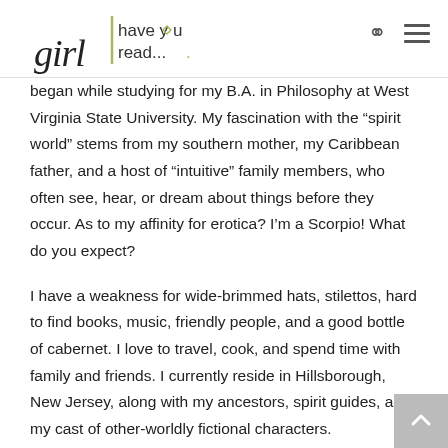girl have you read...
began while studying for my B.A. in Philosophy at West Virginia State University. My fascination with the “spirit world” stems from my southern mother, my Caribbean father, and a host of “intuitive” family members, who often see, hear, or dream about things before they occur. As to my affinity for erotica? I’m a Scorpio! What do you expect?
I have a weakness for wide-brimmed hats, stilettos, hard to find books, music, friendly people, and a good bottle of cabernet. I love to travel, cook, and spend time with family and friends. I currently reside in Hillsborough, New Jersey, along with my ancestors, spirit guides, and my cast of other-worldly fictional characters.